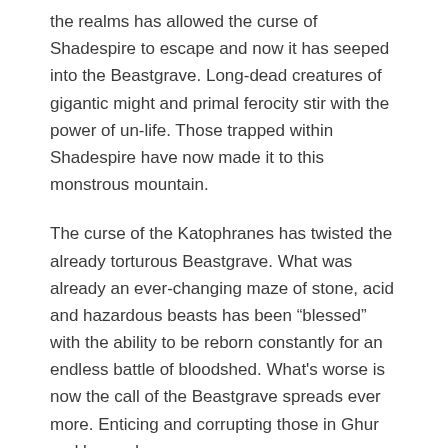the realms has allowed the curse of Shadespire to escape and now it has seeped into the Beastgrave. Long-dead creatures of gigantic might and primal ferocity stir with the power of un-life. Those trapped within Shadespire have now made it to this monstrous mountain.
The curse of the Katophranes has twisted the already torturous Beastgrave. What was already an ever-changing maze of stone, acid and hazardous beasts has been “blessed” with the ability to be reborn constantly for an endless battle of bloodshed. What's worse is now the call of the Beastgrave spreads ever more. Enticing and corrupting those in Ghur and beyond.
Compatibility